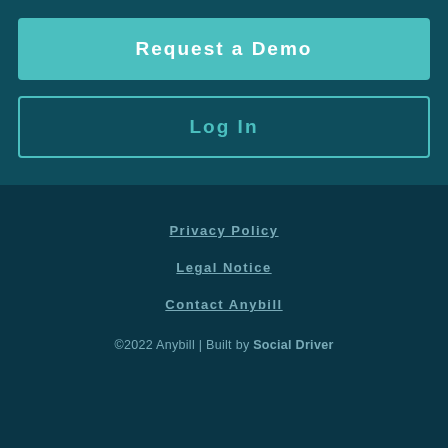Request a Demo
Log In
Privacy Policy
Legal Notice
Contact Anybill
©2022 Anybill | Built by Social Driver